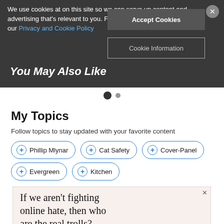We use cookies at on this site so we can serve up content and advertising that's relevant to you. For more information, please visit our Privacy and Cookie Policy
Accept Cookies
Cookie Information
You May Also Like
My Topics
Follow topics to stay updated with your favorite content
+ Phillip Mlynar
+ Cat Safety
+ Cover-Panel
+ Evergreen
+ Kitchen
[Figure (other): Advertisement banner: 'If we aren't fighting online hate, then who are the real trolls?']